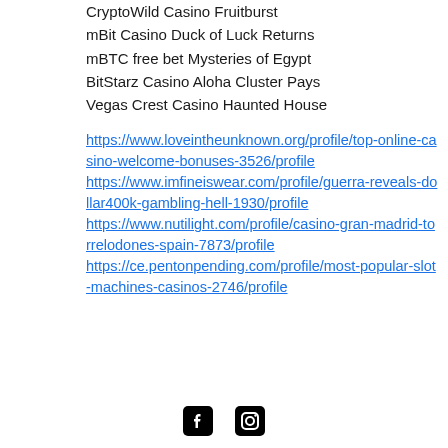CryptoWild Casino Fruitburst
mBit Casino Duck of Luck Returns
mBTC free bet Mysteries of Egypt
BitStarz Casino Aloha Cluster Pays
Vegas Crest Casino Haunted House
https://www.loveintheunknown.org/profile/top-online-casino-welcome-bonuses-3526/profile
https://www.imfineiswear.com/profile/guerra-reveals-dollar400k-gambling-hell-1930/profile
https://www.nutilight.com/profile/casino-gran-madrid-torrelodones-spain-7873/profile
https://ce.pentonpending.com/profile/most-popular-slot-machines-casinos-2746/profile
[Figure (other): Social media icons: Facebook and Instagram]